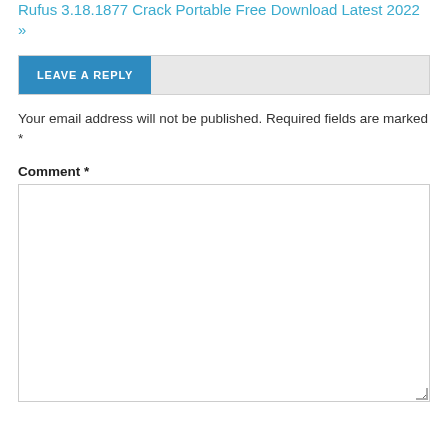Rufus 3.18.1877 Crack Portable Free Download Latest 2022 »
LEAVE A REPLY
Your email address will not be published. Required fields are marked *
Comment *